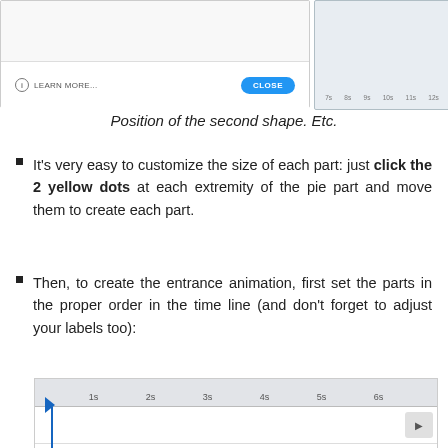[Figure (screenshot): Top of page: a dialog/modal UI showing a 'LEARN MORE...' button on left and blue 'CLOSE' button, with a timeline ruler visible on the right side]
Position of the second shape. Etc.
It's very easy to customize the size of each part: just click the 2 yellow dots at each extremity of the pie part and move them to create each part.
Then, to create the entrance animation, first set the parts in the proper order in the time line (and don't forget to adjust your labels too):
[Figure (screenshot): Timeline editor showing time markers (1s through 6s), a blue playhead arrow, and rows including a play button row, a text label row showing '1.2%...' with play arrow, and a 'Pie 4' row with pie chart icon and play arrow]